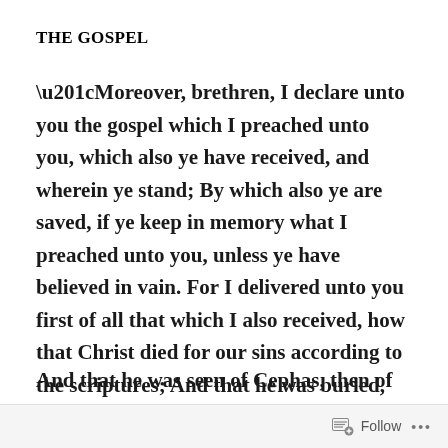THE GOSPEL
“Moreover, brethren, I declare unto you the gospel which I preached unto you, which also ye have received, and wherein ye stand; By which also ye are saved, if ye keep in memory what I preached unto you, unless ye have believed in vain. For I delivered unto you first of all that which I also received, how that Christ died for our sins according to the scriptures; And that he was buried, and that he rose again the third day according to the scriptures:
And that he was seen of Cephas, then of the